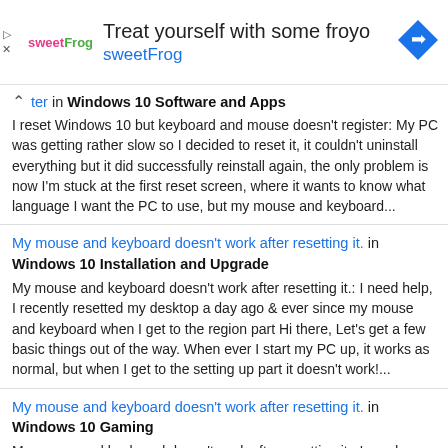[Figure (screenshot): Advertisement banner for sweetFrog frozen yogurt with logo, navigation icon, and ad controls]
ter in Windows 10 Software and Apps
I reset Windows 10 but keyboard and mouse doesn't register: My PC was getting rather slow so I decided to reset it, it couldn't uninstall everything but it did successfully reinstall again, the only problem is now I'm stuck at the first reset screen, where it wants to know what language I want the PC to use, but my mouse and keyboard...
My mouse and keyboard doesn't work after resetting it. in Windows 10 Installation and Upgrade
My mouse and keyboard doesn't work after resetting it.: I need help, I recently resetted my desktop a day ago & ever since my mouse and keyboard when I get to the region part Hi there, Let's get a few basic things out of the way. When ever I start my PC up, it works as normal, but when I get to the setting up part it doesn't work!...
My mouse and keyboard doesn't work after resetting it. in Windows 10 Gaming
My mouse and keyboard doesn't work after resetting it.: I need